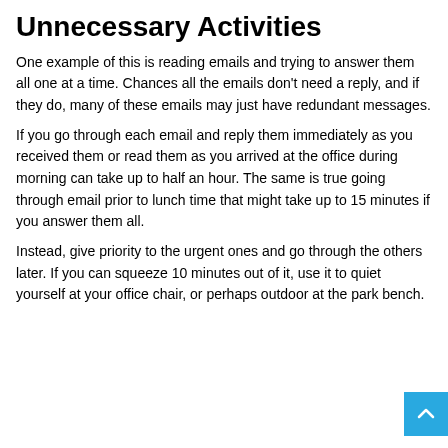Unnecessary Activities
One example of this is reading emails and trying to answer them all one at a time. Chances all the emails don't need a reply, and if they do, many of these emails may just have redundant messages.
If you go through each email and reply them immediately as you received them or read them as you arrived at the office during morning can take up to half an hour. The same is true going through email prior to lunch time that might take up to 15 minutes if you answer them all.
Instead, give priority to the urgent ones and go through the others later. If you can squeeze 10 minutes out of it, use it to quiet yourself at your office chair, or perhaps outdoor at the park bench.